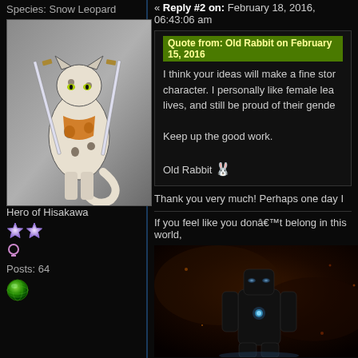Species: Snow Leopard
[Figure (illustration): Snow leopard furry character with swords]
Hero of Hisakawa
[Figure (illustration): Two star rank icons]
♀
Posts: 64
[Figure (illustration): Green globe icon]
« Reply #2 on: February 18, 2016, 06:43:06 am
Quote from: Old Rabbit on February 15, 2016
I think your ideas will make a fine stor character. I personally like female lea lives, and still be proud of their gende

Keep up the good work.

Old Rabbit
Thank you very much! Perhaps one day I
If you feel like you donâ€™t belong in this world,
[Figure (photo): Dark Iron Man silhouette image with glowing eyes]